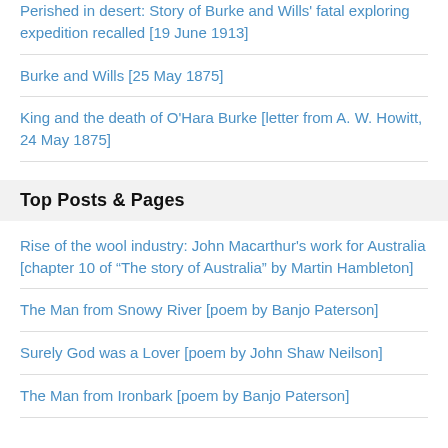Perished in desert: Story of Burke and Wills' fatal exploring expedition recalled [19 June 1913]
Burke and Wills [25 May 1875]
King and the death of O'Hara Burke [letter from A. W. Howitt, 24 May 1875]
Top Posts & Pages
Rise of the wool industry: John Macarthur's work for Australia [chapter 10 of “The story of Australia” by Martin Hambleton]
The Man from Snowy River [poem by Banjo Paterson]
Surely God was a Lover [poem by John Shaw Neilson]
The Man from Ironbark [poem by Banjo Paterson]